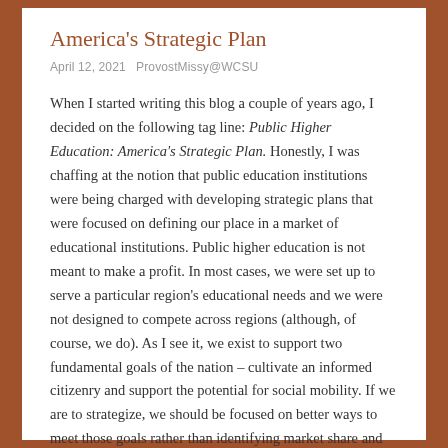America's Strategic Plan
April 12, 2021   ProvostMissy@WCSU
When I started writing this blog a couple of years ago, I decided on the following tag line: Public Higher Education: America's Strategic Plan. Honestly, I was chaffing at the notion that public education institutions were being charged with developing strategic plans that were focused on defining our place in a market of educational institutions. Public higher education is not meant to make a profit. In most cases, we were set up to serve a particular region's educational needs and we were not designed to compete across regions (although, of course, we do). As I see it, we exist to support two fundamental goals of the nation – cultivate an informed citizenry and support the potential for social mobility. If we are to strategize, we should be focused on better ways to meet those goals rather than identifying market share and